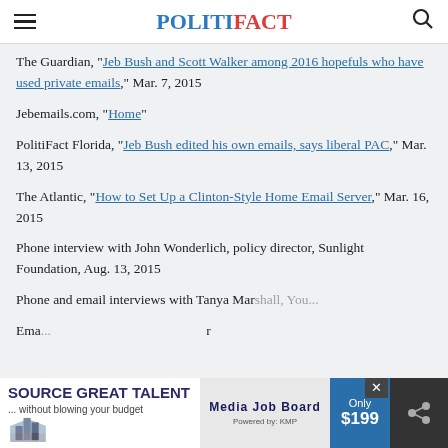POLITIFACT
The Guardian, "Jeb Bush and Scott Walker among 2016 hopefuls who have used private emails," Mar. 7, 2015
Jebemails.com, "Home"
PolitiFact Florida, "Jeb Bush edited his own emails, says liberal PAC," Mar. 13, 2015
The Atlantic, "How to Set Up a Clinton-Style Home Email Server," Mar. 16, 2015
Phone interview with John Wonderlich, policy director, Sunlight Foundation, Aug. 13, 2015
Phone and email interviews with Tanya Marshall, You... Aug. 13, 2015
Ema... r